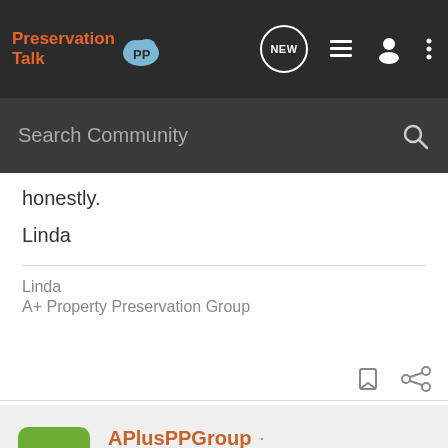Preservation Talk [logo nav bar]
Search Community
honestly.
Linda
Linda
A+ Property Preservation Group
APlusPPGroup · Property Preservation
Joined Apr 14, 2012 · 883 Posts